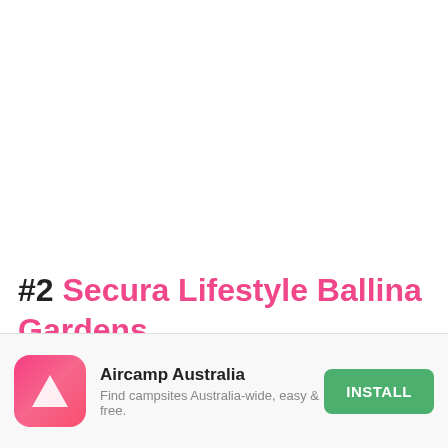#2 Secura Lifestyle Ballina Gardens
126 Tamarind Dr, Ballina, New South Wales Get directions
[Figure (screenshot): Aircamp Australia app advertisement banner with logo, app name, tagline and install button]